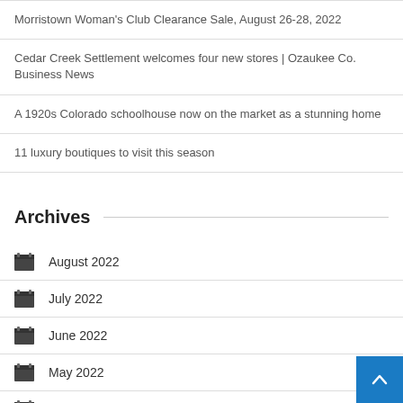Morristown Woman's Club Clearance Sale, August 26-28, 2022
Cedar Creek Settlement welcomes four new stores | Ozaukee Co. Business News
A 1920s Colorado schoolhouse now on the market as a stunning home
11 luxury boutiques to visit this season
Archives
August 2022
July 2022
June 2022
May 2022
April 2022